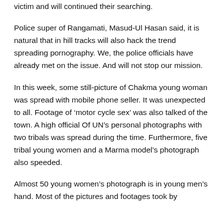victim and will continued their searching.
Police super of Rangamati, Masud-Ul Hasan said, it is natural that in hill tracks will also hack the trend spreading pornography. We, the police officials have already met on the issue. And will not stop our mission.
In this week, some still-picture of Chakma young woman was spread with mobile phone seller. It was unexpected to all. Footage of ‘motor cycle sex’ was also talked of the town. A high official Of UN’s personal photographs with two tribals was spread during the time. Furthermore, five tribal young women and a Marma model’s photograph also speeded.
Almost 50 young women’s photograph is in young men’s hand. Most of the pictures and footages took by